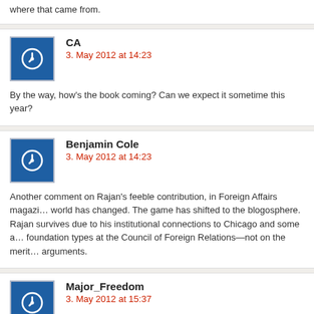where that came from.
CA
3. May 2012 at 14:23
By the way, how's the book coming? Can we expect it sometime this year?
Benjamin Cole
3. May 2012 at 14:23
Another comment on Rajan's feeble contribution, in Foreign Affairs magazine. The world has changed. The game has shifted to the blogosphere.
Rajan survives due to his institutional connections to Chicago and some adoring foundation types at the Council of Foreign Relations—not on the merits of his arguments.
Major_Freedom
3. May 2012 at 15:37